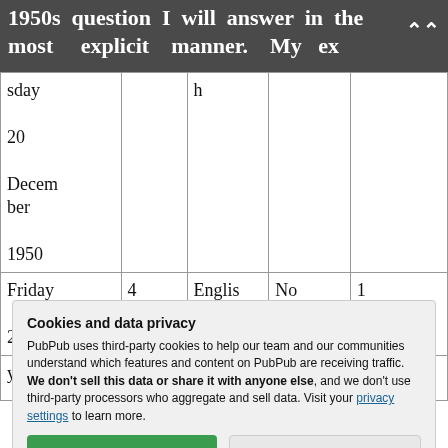1950s question I will answer in the most explicit manner. My ex
| sday

20

December

1950 |  | h |  |  |
| Friday

22 | 4 | English | No | 1 |
| y 25, |  | ll |  |  |
Cookies and data privacy
PubPub uses third-party cookies to help our team and our communities understand which features and content on PubPub are receiving traffic. We don't sell this data or share it with anyone else, and we don't use third-party processors who aggregate and sell data. Visit your privacy settings to learn more.